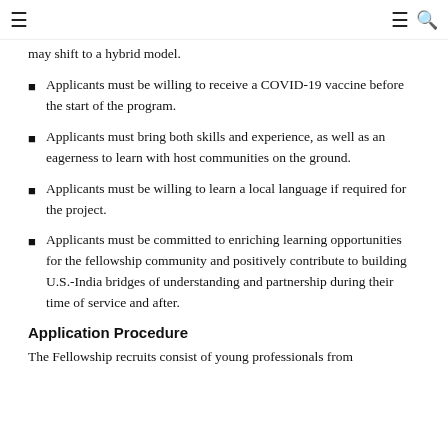≡  ≡ 🔍
may shift to a hybrid model.
Applicants must be willing to receive a COVID-19 vaccine before the start of the program.
Applicants must bring both skills and experience, as well as an eagerness to learn with host communities on the ground.
Applicants must be willing to learn a local language if required for the project.
Applicants must be committed to enriching learning opportunities for the fellowship community and positively contribute to building U.S.-India bridges of understanding and partnership during their time of service and after.
Application Procedure
The Fellowship recruits consist of young professionals from